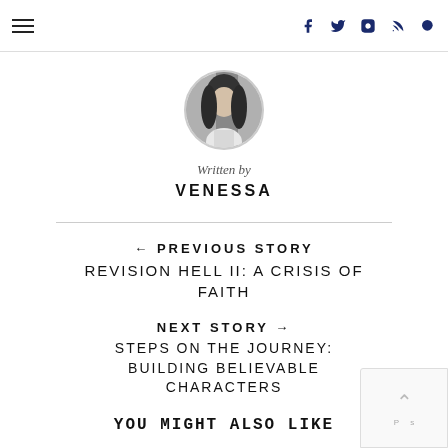Navigation bar with hamburger menu and social icons (facebook, twitter, instagram, rss, search)
[Figure (photo): Circular avatar photo of a woman with long dark hair, black and white]
Written by
VENESSA
← PREVIOUS STORY
REVISION HELL II: A CRISIS OF FAITH
NEXT STORY →
STEPS ON THE JOURNEY: BUILDING BELIEVABLE CHARACTERS
YOU MIGHT ALSO LIKE